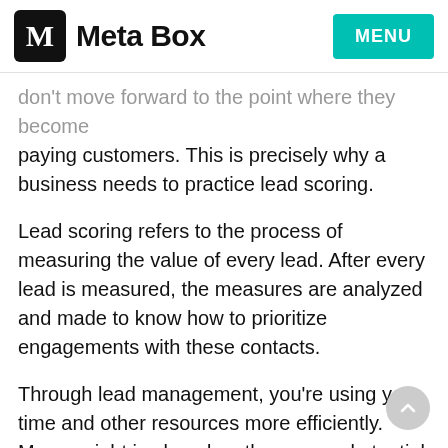M Meta Box | MENU
don't move forward to the point where they become paying customers. This is precisely why a business needs to practice lead scoring.
Lead scoring refers to the process of measuring the value of every lead. After every lead is measured, the measures are analyzed and made to know how to prioritize engagements with these contacts.
Through lead management, you're using your time and other resources more efficiently. More weight is placed on the more substantial and more valuable leads, rather than making the mistake of focusing on the leads that don't bring the best results.